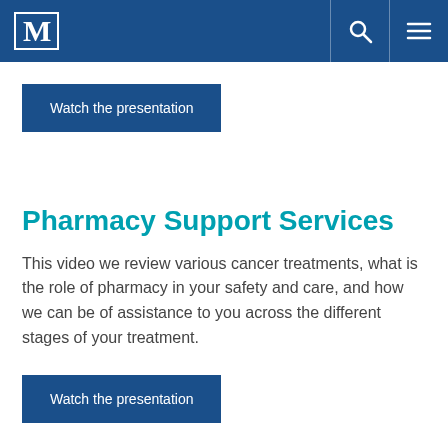M (logo) | search | menu
Watch the presentation
Pharmacy Support Services
This video we review various cancer treatments, what is the role of pharmacy in your safety and care, and how we can be of assistance to you across the different stages of your treatment.
Watch the presentation